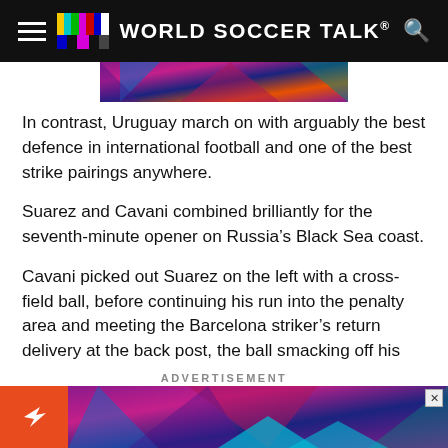WORLD SOCCER TALK
[Figure (photo): Partial view of a colorful geometric/abstract image strip at top of article]
In contrast, Uruguay march on with arguably the best defence in international football and one of the best strike pairings anywhere.
Suarez and Cavani combined brilliantly for the seventh-minute opener on Russia’s Black Sea coast.
Cavani picked out Suarez on the left with a cross-field ball, before continuing his run into the penalty area and meeting the Barcelona striker’s return delivery at the back post, the ball smacking off his face and flying in.
ADVERTISEMENT
[Figure (photo): Colorful geometric abstract advertisement image at bottom of page]